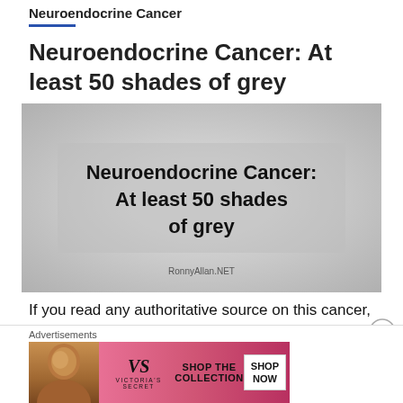Neuroendocrine Cancer
Neuroendocrine Cancer: At least 50 shades of grey
[Figure (illustration): Grey gradient background image with centered text reading 'Neuroendocrine Cancer: At least 50 shades of grey' and watermark 'RonnyAllan.NET']
If you read any authoritative source on this cancer, it will normally begin with
Advertisements
[Figure (photo): Victoria's Secret advertisement banner with a woman's photo on the left, VS logo, and 'SHOP THE COLLECTION' text with a 'SHOP NOW' button]